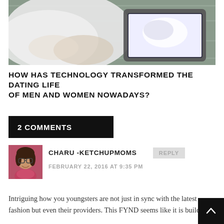[Figure (photo): A person in a white shirt looking at a tablet computer on a wooden surface, viewed from above.]
HOW HAS TECHNOLOGY TRANSFORMED THE DATING LIFE OF MEN AND WOMEN NOWADAYS?
2 COMMENTS
CHARU -KETCHUPMOMS
FEBRUARY 22, 2016 AT 9:35 PM
Intriguing how you youngsters are not just in sync with the latest fashion but even their providers. This FYND seems like it is building